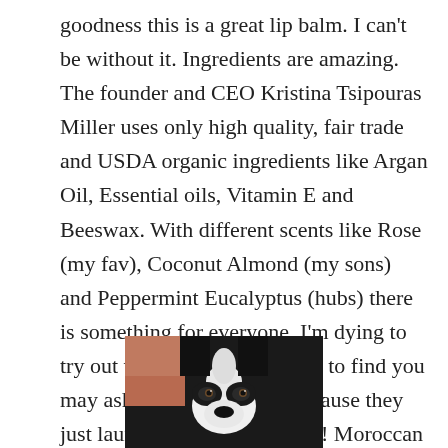goodness this is a great lip balm. I can't be without it. Ingredients are amazing. The founder and CEO Kristina Tsipouras Miller uses only high quality, fair trade and USDA organic ingredients like Argan Oil, Essential oils, Vitamin E and Beeswax. With different scents like Rose (my fav), Coconut Almond (my sons) and Peppermint Eucalyptus (hubs) there is something for everyone. I'm dying to try out the others. Now where to find you may ask! Look no further because they just launched in Target!! Yay!! Moroccan Magic can also be found at Whole Foods and CVS. Making organic lip care accessible and affordable to everyone!
[Figure (photo): Close-up photo of a black and white dog (likely a Boston Terrier or French Bulldog) looking at the camera, cropped to show mainly the face and forehead area.]